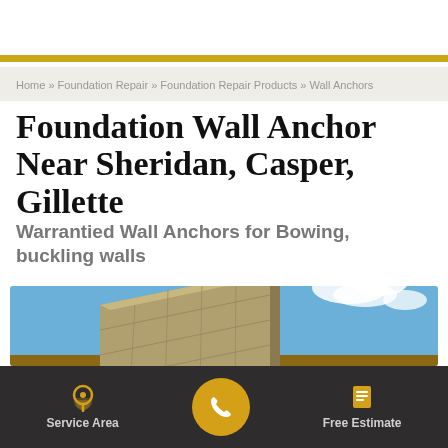Home » Foundation Repair » Foundation Repair Products » Wall Anchors
Foundation Wall Anchor Near Sheridan, Casper, Gillette
Warrantied Wall Anchors for Bowing, buckling walls
[Figure (photo): Photograph of a bowing/buckling concrete foundation wall outdoors against a blue sky with clouds]
Service Area | [phone call button] | Free Estimate